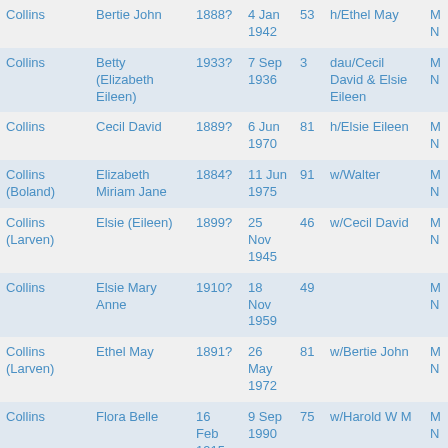| Surname | Given Name | Birth | Death | Age | Relationship |  |
| --- | --- | --- | --- | --- | --- | --- |
| Collins | Bertie John | 1888? | 4 Jan 1942 | 53 | h/Ethel May | M N |
| Collins | Betty (Elizabeth Eileen) | 1933? | 7 Sep 1936 | 3 | dau/Cecil David & Elsie Eileen | M N |
| Collins | Cecil David | 1889? | 6 Jun 1970 | 81 | h/Elsie Eileen | M N |
| Collins (Boland) | Elizabeth Miriam Jane | 1884? | 11 Jun 1975 | 91 | w/Walter | M N |
| Collins (Larven) | Elsie (Eileen) | 1899? | 25 Nov 1945 | 46 | w/Cecil David | M N |
| Collins | Elsie Mary Anne | 1910? | 18 Nov 1959 | 49 |  | M N |
| Collins (Larven) | Ethel May | 1891? | 26 May 1972 | 81 | w/Bertie John | M N |
| Collins | Flora Belle | 16 Feb 1915 | 9 Sep 1990 | 75 | w/Harold W M | M N |